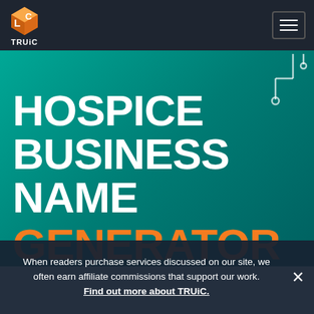TRUiC
HOSPICE BUSINESS NAME GENERATOR
When readers purchase services discussed on our site, we often earn affiliate commissions that support our work. Find out more about TRUiC.